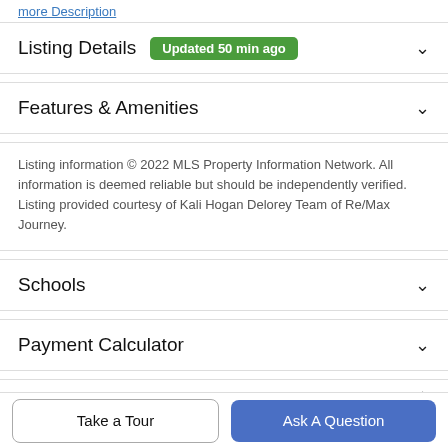more Description
Listing Details   Updated 50 min ago
Features & Amenities
Listing information © 2022 MLS Property Information Network. All information is deemed reliable but should be independently verified. Listing provided courtesy of Kali Hogan Delorey Team of Re/Max Journey.
Schools
Payment Calculator
Contact Agent
Take a Tour
Ask A Question